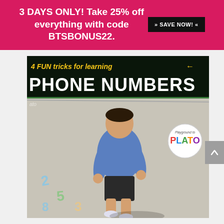3 DAYS ONLY! Take 25% off everything with code BTSBONUS22. >> SAVE NOW! <<
[Figure (photo): A boy in a blue shirt and black shorts playing on a driveway with chalk numbers drawn on the ground. The image has a title overlay reading '4 FUN tricks for learning PHONE NUMBERS' with the Playground to PLATO logo badge in the corner.]